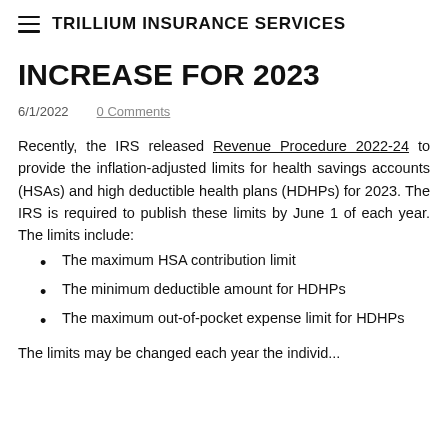≡ TRILLIUM INSURANCE SERVICES
INCREASE FOR 2023
6/1/2022    0 Comments
Recently, the IRS released Revenue Procedure 2022-24 to provide the inflation-adjusted limits for health savings accounts (HSAs) and high deductible health plans (HDHPs) for 2023. The IRS is required to publish these limits by June 1 of each year. The limits include:
The maximum HSA contribution limit
The minimum deductible amount for HDHPs
The maximum out-of-pocket expense limit for HDHPs
The limits may be changed each year the individ...